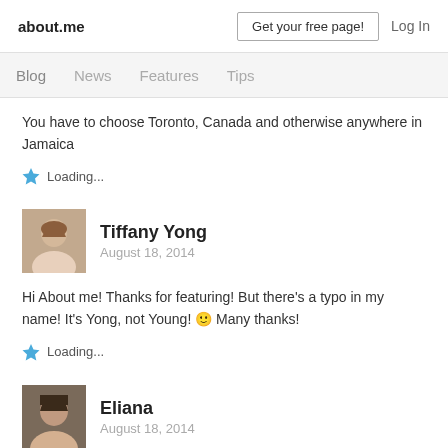about.me | Get your free page! | Log In
Blog  News  Features  Tips
You have to choose Toronto, Canada and otherwise anywhere in Jamaica
Loading...
Tiffany Yong
August 18, 2014
Hi About me! Thanks for featuring! But there's a typo in my name! It's Yong, not Young! 🙂 Many thanks!
Loading...
Eliana
August 18, 2014